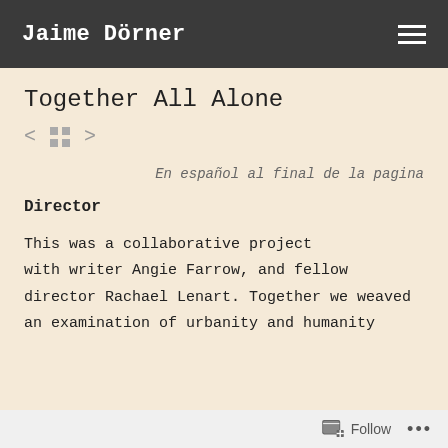Jaime Dörner
Together All Alone
[Figure (other): Navigation controls: left arrow, grid/thumbnail icon, right arrow]
En español al final de la pagina
Director
This was a collaborative project with writer Angie Farrow, and fellow director Rachael Lenart. Together we weaved an examination of urbanity and humanity
Follow ...